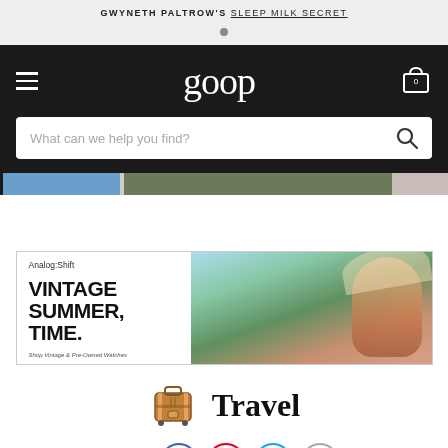GWYNETH PALTROW'S SLEEP MILK SECRET
[Figure (screenshot): Goop website navigation bar with hamburger menu, goop logo, and cart icon with 0 items]
What can we help you find?
[Figure (photo): Hero image strip showing partial website banner images]
[Figure (illustration): Analog:Shift advertisement banner: VINTAGE SUMMER, TIME. Shop Vintage & Pre-Owned Watches — with photo of woman in wide-brim hat]
🧳 Travel
SHARE: